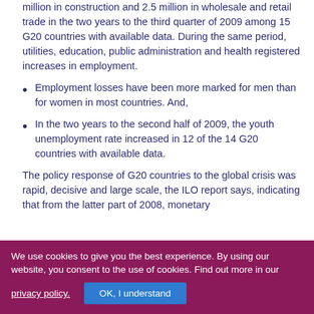million in construction and 2.5 million in wholesale and retail trade in the two years to the third quarter of 2009 among 15 G20 countries with available data. During the same period, utilities, education, public administration and health registered increases in employment.
Employment losses have been more marked for men than for women in most countries. And,
In the two years to the second half of 2009, the youth unemployment rate increased in 12 of the 14 G20 countries with available data.
The policy response of G20 countries to the global crisis was rapid, decisive and large scale, the ILO report says, indicating that from the latter part of 2008, monetary...
We use cookies to give you the best experience. By using our website, you consent to the use of cookies. Find out more in our privacy policy.